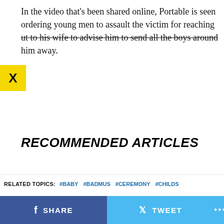In the video that's been shared online, Portable is seen ordering young men to assault the victim for reaching [strikethrough: ut to his wife to advise him to send all the boys around] him away.
RECOMMENDED ARTICLES
ADVERTISEMENT
ADVERTISEMENT
RELATED TOPICS: #BABY #BADMUS #CEREMONY #CHILDS
SHARE   TWEET